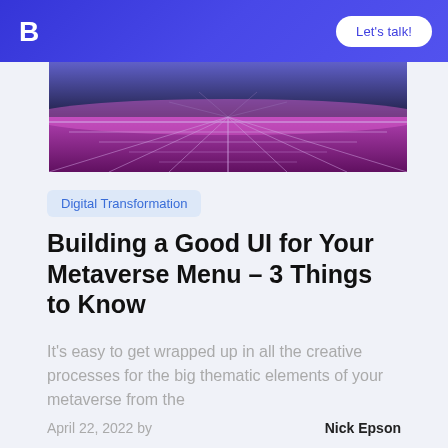B  Let's talk!
[Figure (illustration): Retro-futuristic pink and purple grid landscape receding to horizon, dark background, neon grid lines]
Digital Transformation
Building a Good UI for Your Metaverse Menu – 3 Things to Know
It's easy to get wrapped up in all the creative processes for the big thematic elements of your metaverse from the
April 22, 2022 by   Nick Epson